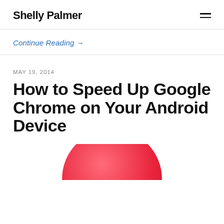Shelly Palmer
Continue Reading →
MAY 19, 2014
How to Speed Up Google Chrome on Your Android Device
[Figure (photo): Red/pink circular object, partially visible at bottom of page]